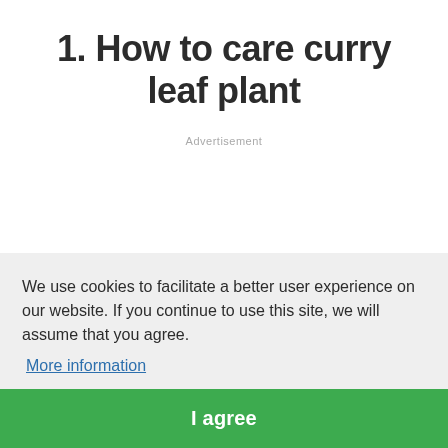1. How to care curry leaf plant
Advertisement
We use cookies to facilitate a better user experience on our website. If you continue to use this site, we will assume that you agree. More information
I agree